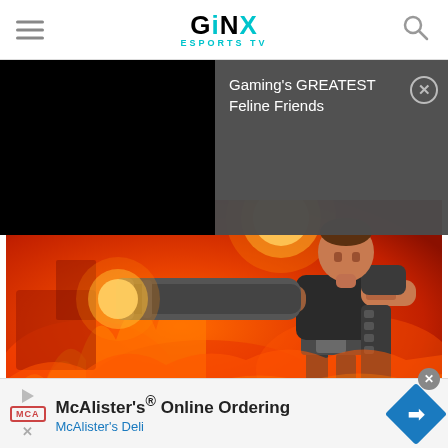[Figure (logo): GINX ESPORTS TV logo with hamburger menu icon on left and search icon on right]
[Figure (screenshot): Notification overlay on dark grey background reading: Gaming's GREATEST Feline Friends, with a close (X) button]
[Figure (photo): Game art image showing a character in tactical gear firing a large cannon/launcher against a fiery orange background (Apex Legends - Fuse character). Black video placeholder block overlaid on left side.]
Fuse has failed to live up to his explosive promise. (Picture: Respawn
[Figure (screenshot): McAlister's advertisement banner with McAlister's logo, play button, McAlister's Online Ordering title, McAlister's Deli subtitle, blue arrow icon on right, and close button at top right]